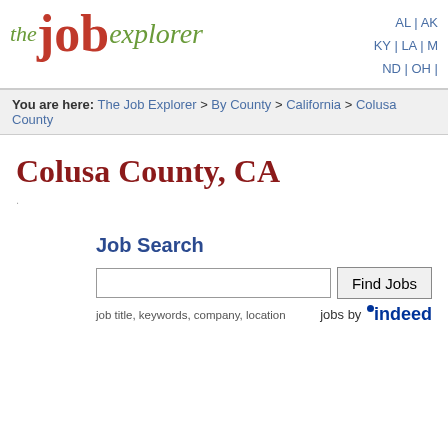[Figure (logo): The Job Explorer logo with 'the' in green italic, 'job' in large red bold, 'explorer' in green italic]
AL | AK KY | LA | M ND | OH |
You are here: The Job Explorer > By County > California > Colusa County
Colusa County, CA
Job Search
job title, keywords, company, location   jobs by indeed